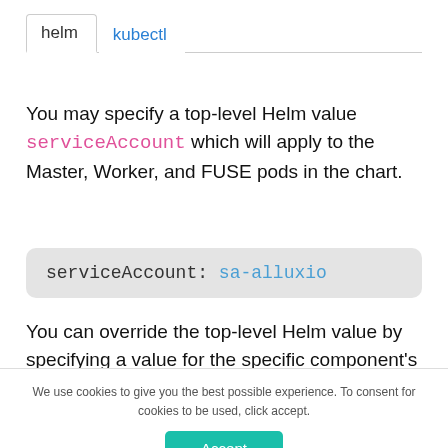helm  kubectl
You may specify a top-level Helm value serviceAccount which will apply to the Master, Worker, and FUSE pods in the chart.
serviceAccount: sa-alluxio
You can override the top-level Helm value by specifying a value for the specific component's serviceAccount like below:
We use cookies to give you the best possible experience. To consent for cookies to be used, click accept.
Accept
GDPR compliance powered by Autopilot.